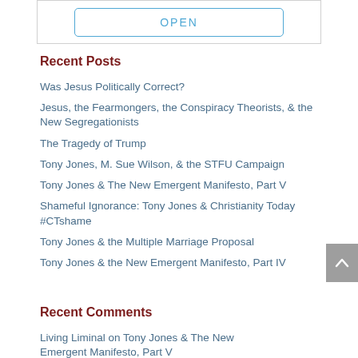[Figure (other): OPEN button with blue border]
Recent Posts
Was Jesus Politically Correct?
Jesus, the Fearmongers, the Conspiracy Theorists, & the New Segregationists
The Tragedy of Trump
Tony Jones, M. Sue Wilson, & the STFU Campaign
Tony Jones & The New Emergent Manifesto, Part V
Shameful Ignorance: Tony Jones & Christianity Today #CTshame
Tony Jones & the Multiple Marriage Proposal
Tony Jones & the New Emergent Manifesto, Part IV
Recent Comments
Living Liminal on Tony Jones & The New Emergent Manifesto, Part V